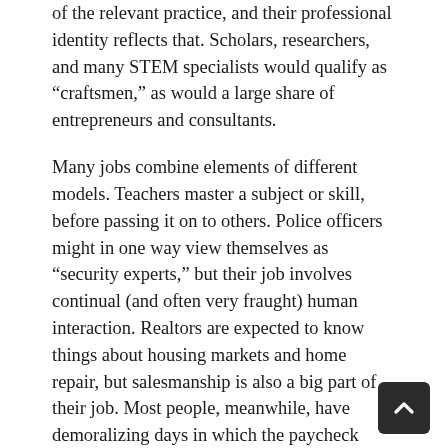of the relevant practice, and their professional identity reflects that. Scholars, researchers, and many STEM specialists would qualify as “craftsmen,” as would a large share of entrepreneurs and consultants.
Many jobs combine elements of different models. Teachers master a subject or skill, before passing it on to others. Police officers might in one way view themselves as “security experts,” but their job involves continual (and often very fraught) human interaction. Realtors are expected to know things about housing markets and home repair, but salesmanship is also a big part of their job. Most people, meanwhile, have demoralizing days in which the paycheck seems like the only real justification for staying at work. Nevertheless, it seems clear that most jobs fit one category better than the others. Workers’ motivations can vary widely, depending on the paradigm they use to understand their job.
When a person struggles to find steady employment, friends or relatives may advise him to shift his paradigm